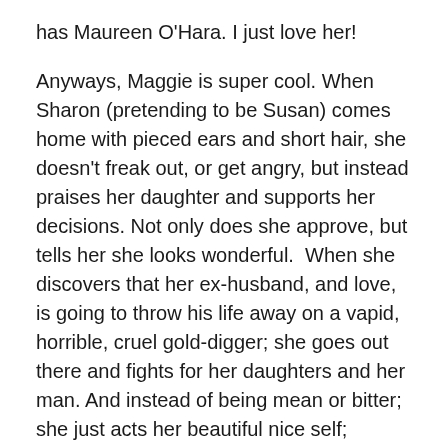has Maureen O'Hara. I just love her!
Anyways, Maggie is super cool. When Sharon (pretending to be Susan) comes home with pieced ears and short hair, she doesn't freak out, or get angry, but instead praises her daughter and supports her decisions. Not only does she approve, but tells her she looks wonderful.  When she discovers that her ex-husband, and love, is going to throw his life away on a vapid, horrible, cruel gold-digger; she goes out there and fights for her daughters and her  man. And instead of being mean or bitter; she just acts her beautiful nice self; winning everyone over. The fam is going to go on a camping trip and Vicky gets jealous about Mitch and Maggie spending time together, Maggie steps aside; not only because she knows Vicky will reveal her true colors, but because she is the bigger person. She's